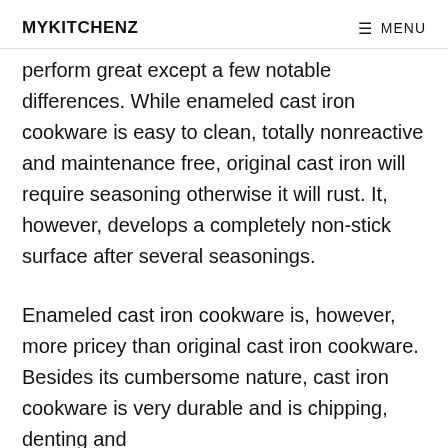MYKITCHENZ   ≡ MENU
perform great except a few notable differences. While enameled cast iron cookware is easy to clean, totally nonreactive and maintenance free, original cast iron will require seasoning otherwise it will rust. It, however, develops a completely non-stick surface after several seasonings.
Enameled cast iron cookware is, however, more pricey than original cast iron cookware. Besides its cumbersome nature, cast iron cookware is very durable and is chipping, denting and